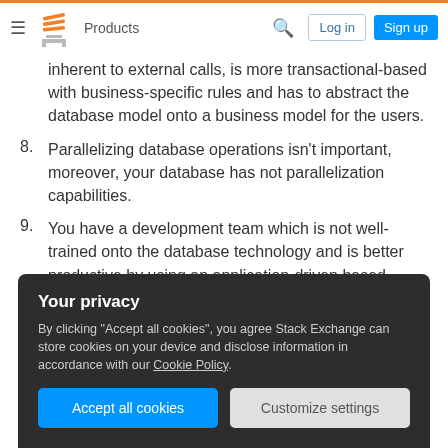Stack Overflow – Products | Log in | Sign up
inherent to external calls, is more transactional-based with business-specific rules and has to abstract the database model onto a business model for the users.
8. Parallelizing database operations isn't important, moreover, your database has not parallelization capabilities.
9. You have a development team which is not well-trained onto the database technology and is better productive by using an application-driven based technology.
Your privacy
By clicking "Accept all cookies", you agree Stack Exchange can store cookies on your device and disclose information in accordance with our Cookie Policy.
Accept all cookies
Customize settings